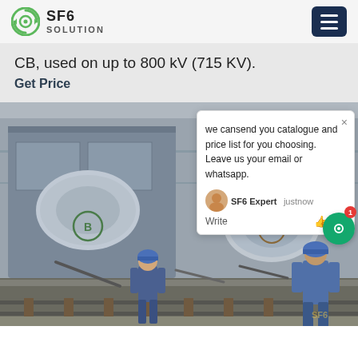SF6 SOLUTION
CB, used on up to 800 kV (715 KV).
Get Price
[Figure (photo): Industrial facility scene showing large SF6 circuit breakers on a railcar/transport vehicle, with two workers wearing blue jumpsuits and blue hard hats inspecting the equipment. Chat popup overlay visible on right side.]
we cansend you catalogue and price list for you choosing.
Leave us your email or whatsapp.
SF6 Expert   justnow
Write